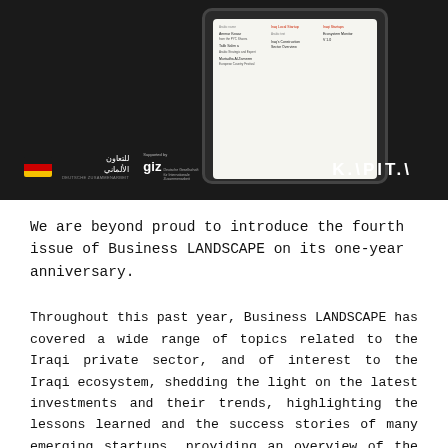[Figure (photo): Dark-themed promotional photo showing a tablet device with Business LANDSCAPE publication content, alongside GIZ and KAPITA logos on a dark background.]
We are beyond proud to introduce the fourth issue of Business LANDSCAPE on its one-year anniversary.
Throughout this past year, Business LANDSCAPE has covered a wide range of topics related to the Iraqi private sector, and of interest to the Iraqi ecosystem, shedding the light on the latest investments and their trends, highlighting the lessons learned and the success stories of many emerging startups, providing an overview of the different Iraqi sectors such as agriculture, industry, electricity, education, tourism, and health sector. In addition to providing summary pieces on the latest research conducted by KAPITA's Research and Development Department in an attempt to supply the data-deprived Iraqi market with resources to fuel its